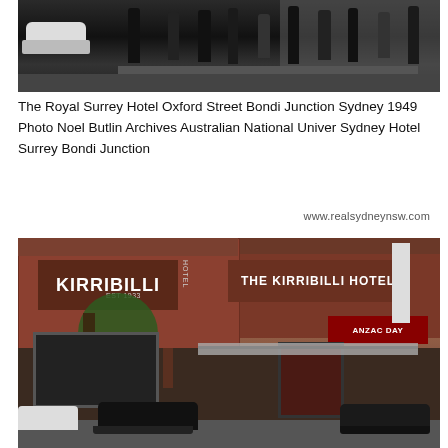[Figure (photo): Black and white historical photograph showing The Royal Surrey Hotel on Oxford Street, Bondi Junction, Sydney, 1949. Shows a vintage car on the left, people walking on the street, and building facades in the background.]
The Royal Surrey Hotel Oxford Street Bondi Junction Sydney 1949 Photo Noel Butlin Archives Australian National Univer Sydney Hotel Surrey Bondi Junction
www.realsydneynsw.com
[Figure (photo): Color photograph of the Kirribilli Hotel, a red brick building with large signage reading 'KIRRIBILLI HOTEL' and 'THE KIRRIBILLI HOTEL'. An ANZAC Day banner is visible on the right side. Trees are in front of the building, and cars are parked on the street below.]